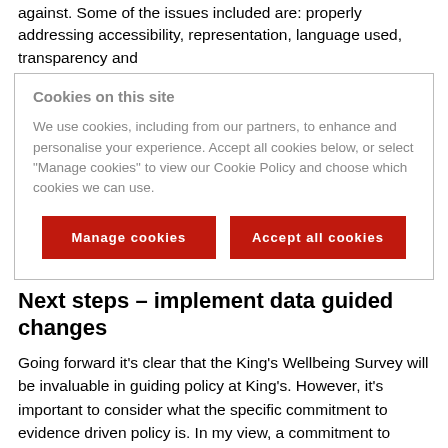against. Some of the issues included are: properly addressing accessibility, representation, language used, transparency and
Cookies on this site

We use cookies, including from our partners, to enhance and personalise your experience. Accept all cookies below, or select “Manage cookies” to view our Cookie Policy and choose which cookies we can use.

[Manage cookies] [Accept all cookies]
Next steps – implement data guided changes
Going forward it’s clear that the King’s Wellbeing Survey will be invaluable in guiding policy at King’s. However, it’s important to consider what the specific commitment to evidence driven policy is. In my view, a commitment to evidence driven policy means that issues being brought to attention as a result of the survey data must be acted on, for the changes that it is